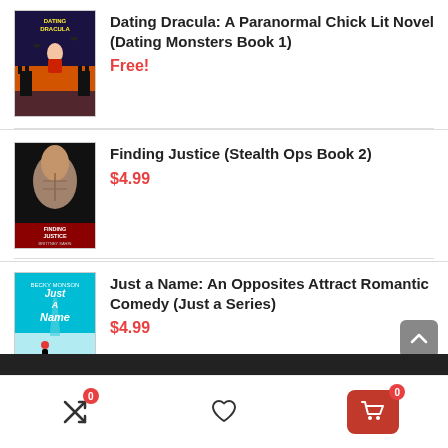[Figure (illustration): Book cover for Dating Dracula: A Paranormal Chick Lit Novel (Dating Monsters Book 1)]
Dating Dracula: A Paranormal Chick Lit Novel (Dating Monsters Book 1)
Free!
[Figure (illustration): Book cover for Finding Justice (Stealth Ops Book 2) by Brittney Sahin]
Finding Justice (Stealth Ops Book 2)
$4.99
[Figure (illustration): Book cover for Just a Name: An Opposites Attract Romantic Comedy (Just a Series) by Becky Monson]
Just a Name: An Opposites Attract Romantic Comedy (Just a Series)
$4.99
Navigation bar with shuffle icon (badge 0), heart icon, and cart icon (badge 0)